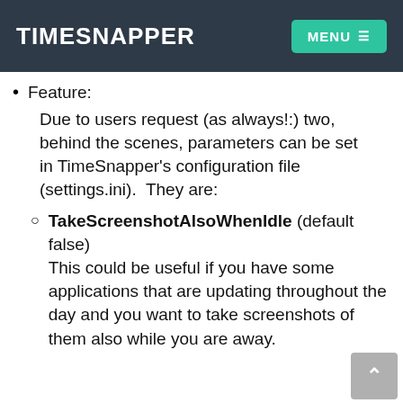TimeSnapper  MENU
Feature:
Due to users request (as always!:) two, behind the scenes, parameters can be set in TimeSnapper's configuration file (settings.ini).  They are:
TakeScreenshotAlsoWhenIdle (default false)
This could be useful if you have some applications that are updating throughout the day and you want to take screenshots of them also while you are away.